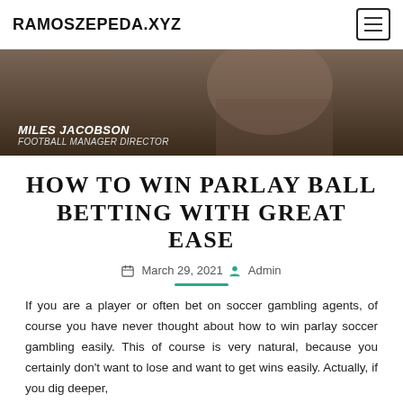RAMOSZEPEDA.XYZ
[Figure (photo): Photo of a person in a brown hoodie with caption overlay: MILES JACOBSON, FOOTBALL MANAGER DIRECTOR]
HOW TO WIN PARLAY BALL BETTING WITH GREAT EASE
March 29, 2021  Admin
If you are a player or often bet on soccer gambling agents, of course you have never thought about how to win parlay soccer gambling easily. This of course is very natural, because you certainly don't want to lose and want to get wins easily. Actually, if you dig deeper,